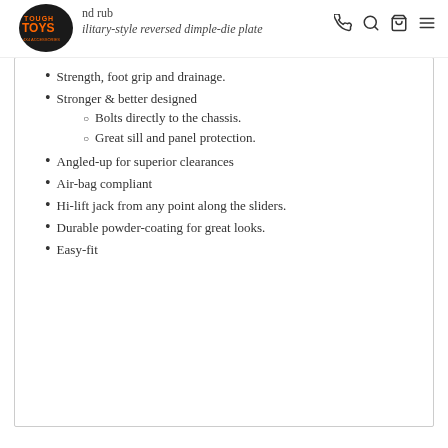Tough Toys [logo] — phone, search, cart, menu icons
Strength, foot grip and drainage.
Stronger & better designed
Bolts directly to the chassis.
Great sill and panel protection.
Angled-up for superior clearances
Air-bag compliant
Hi-lift jack from any point along the sliders.
Durable powder-coating for great looks.
Easy-fit